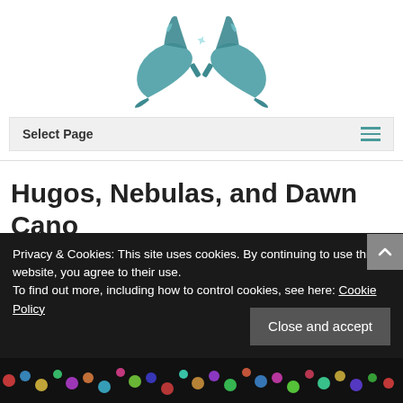[Figure (logo): Teal/turquoise high heels logo icon with crossed shoes]
Select Page
Hugos, Nebulas, and Dawn Cano
by Megan Leigh | September 8, 2016 | Episodes, Interview | 0 comments
Privacy & Cookies: This site uses cookies. By continuing to use this website, you agree to their use.
To find out more, including how to control cookies, see here: Cookie Policy
Close and accept